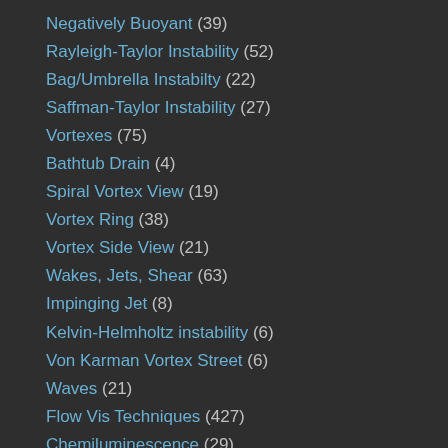Negatively Buoyant (39)
Rayleigh-Taylor Instability (52)
Bag/Umbrella Instabilty (22)
Saffman-Taylor Instability (27)
Vortexes (75)
Bathtub Drain (4)
Spiral Vortex View (19)
Vortex Ring (38)
Vortex Side View (21)
Wakes, Jets, Shear (63)
Impinging Jet (8)
Kelvin-Helmholtz instability (6)
Von Karman Vortex Street (6)
Waves (21)
Flow Vis Techniques (427)
Chemiluminescence (29)
Fluorescence (14)
Marked Area (201)